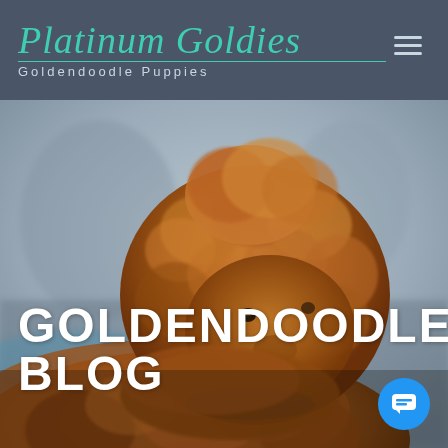Platinum Goldies — Goldendoodle Puppies
[Figure (photo): Close-up photo of a fluffy golden-brown Goldendoodle puppy looking upward, with a blurred outdoor background. The puppy has curly reddish-brown fur and a dark collar visible at the bottom.]
GOLDENDOODLE BLOG